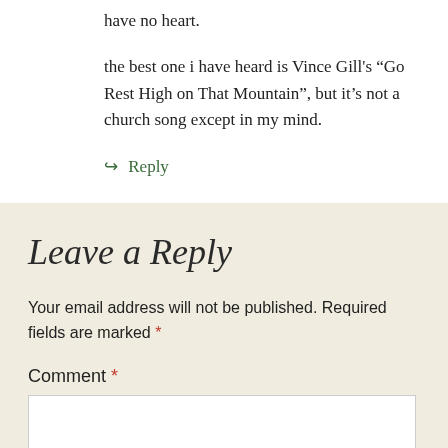have no heart.
the best one i have heard is Vince Gill's “Go Rest High on That Mountain”, but it’s not a church song except in my mind.
↪ Reply
Leave a Reply
Your email address will not be published. Required fields are marked *
Comment *